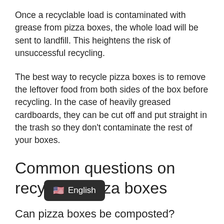Once a recyclable load is contaminated with grease from pizza boxes, the whole load will be sent to landfill. This heightens the risk of unsuccessful recycling.
The best way to recycle pizza boxes is to remove the leftover food from both sides of the box before recycling. In the case of heavily greased cardboards, they can be cut off and put straight in the trash so they don't contaminate the rest of your boxes.
Common questions on recycling pizza boxes
Can pizza boxes be composted?
Ye                    g is a popular alternative to pizza
[Figure (screenshot): A dark tooltip/language selector overlay showing a US flag emoji and the text 'English']